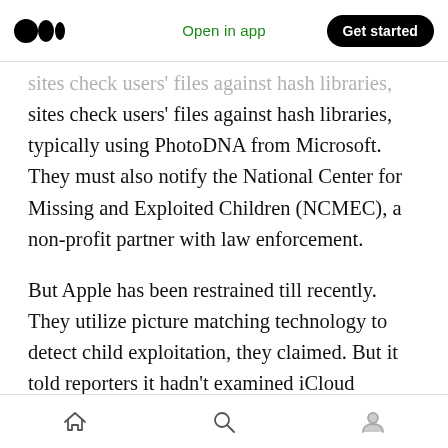Medium logo | Open in app | Get started
sites check users' files against hash libraries, typically using PhotoDNA from Microsoft. They must also notify the National Center for Missing and Exploited Children (NCMEC), a non-profit partner with law enforcement.
But Apple has been restrained till recently. They utilize picture matching technology to detect child exploitation, they claimed. But it told reporters it hadn't examined iCloud Photos. (It acknowledged scanning iCloud Mail but gave no more details regarding scanning other Apple
Home | Search | Profile